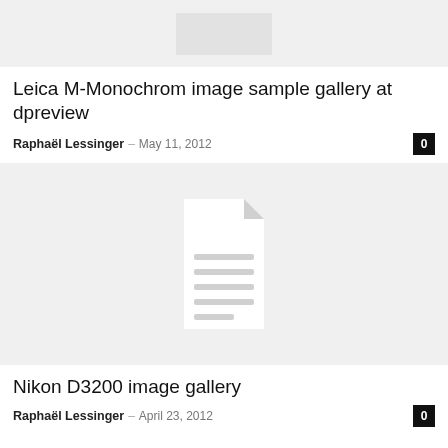[Figure (photo): Placeholder image thumbnail at top of page, light gray background with white placeholder box]
Leica M-Monochrom image sample gallery at dpreview
Raphaël Lessinger – May 11, 2012
[Figure (photo): Placeholder image with document/file icon on gray background]
Nikon D3200 image gallery
Raphaël Lessinger – April 23, 2012